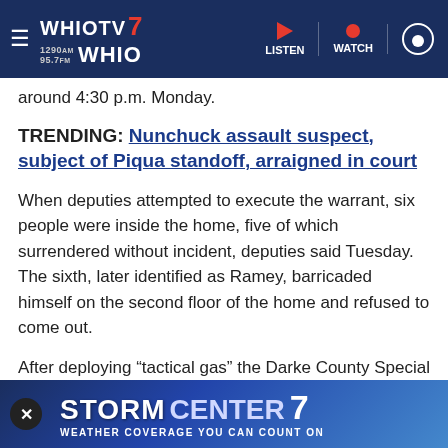WHIOTV7 WHIO | LISTEN | WATCH
around 4:30 p.m. Monday.
TRENDING: Nunchuck assault suspect, subject of Piqua standoff, arraigned in court
When deputies attempted to execute the warrant, six people were inside the home, five of which surrendered without incident, deputies said Tuesday. The sixth, later identified as Ramey, barricaded himself on the second floor of the home and refused to come out.
After deploying “tactical gas” the Darke County Special Response Team entered the home and arrested the individual. the release
[Figure (screenshot): STORM CENTER 7 advertisement banner - WEATHER COVERAGE YOU CAN COUNT ON]